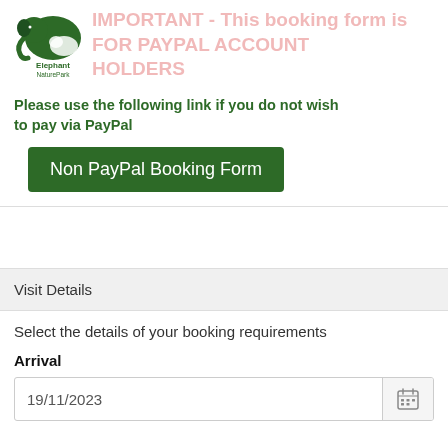[Figure (logo): Elephant Nature Park logo with green elephant graphic and text 'Elephant NaturePark']
IMPORTANT - This booking form is FOR PAYPAL ACCOUNT HOLDERS
Please use the following link if you do not wish to pay via PayPal
Non PayPal Booking Form
Visit Details
Select the details of your booking requirements
Arrival
19/11/2023